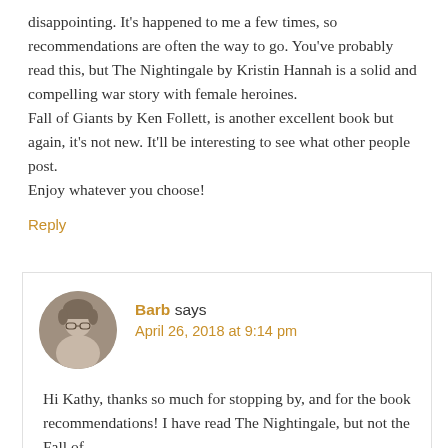disappointing. It's happened to me a few times, so recommendations are often the way to go. You've probably read this, but The Nightingale by Kristin Hannah is a solid and compelling war story with female heroines.
Fall of Giants by Ken Follett, is another excellent book but again, it's not new. It'll be interesting to see what other people post.
Enjoy whatever you choose!
Reply
Barb says
April 26, 2018 at 9:14 pm
Hi Kathy, thanks so much for stopping by, and for the book recommendations! I have read The Nightingale, but not the Fall of